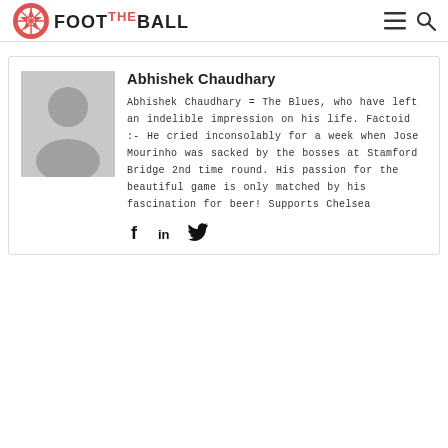FOOT THE BALL
Abhishek Chaudhary
Abhishek Chaudhary = The Blues, who have left an indelible impression on his life. Factoid :- He cried inconsolably for a week when Jose Mourinho was sacked by the bosses at Stamford Bridge 2nd time round. His passion for the beautiful game is only matched by his fascination for beer! Supports Chelsea
[Figure (illustration): Social media icons: Facebook, LinkedIn, Twitter]